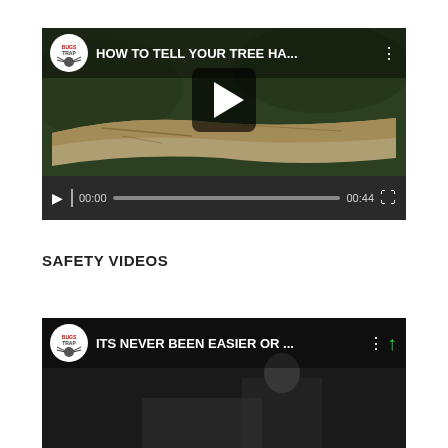[Figure (screenshot): YouTube-style video player thumbnail showing a log on grass with BugsTrap channel logo and title 'HOW TO TELL YOUR TREE HA...' with play button and controls bar showing 00:00 / 00:44]
SAFETY VIDEOS
[Figure (screenshot): YouTube-style video thumbnail showing BugsTrap channel logo and title 'ITS NEVER BEEN EASIER OR ...' with green arrow icon, partially visible]